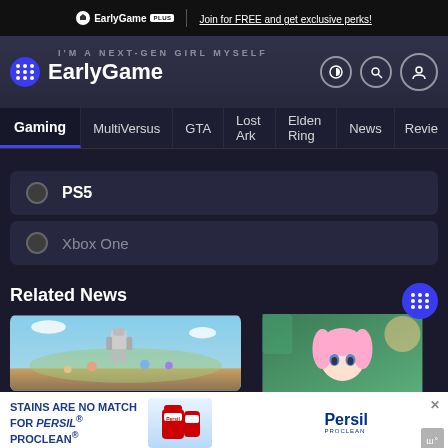EarlyGame PLUS | Join for FREE and get exclusive perks!
EarlyGame
PS5
Xbox One
Related News
[Figure (screenshot): Gaming news card showing animated robot characters in a colorful outdoor scene]
[Figure (screenshot): Gaming news card showing an animated character with pink hair]
STAINS ARE NO MATCH FOR PERSIL PROCLEAN